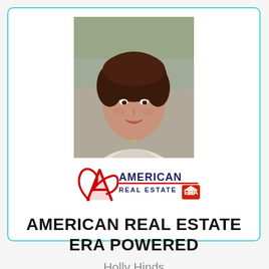[Figure (photo): Headshot portrait of a woman with dark hair, wearing a white jacket and necklace, smiling, outdoors background]
[Figure (logo): American Real Estate ERA Powered logo — red stylized letter A with swoosh, text 'AMERICAN REAL ESTATE' in navy and red, ERA house logo badge]
AMERICAN REAL ESTATE ERA POWERED
Holly Hinds